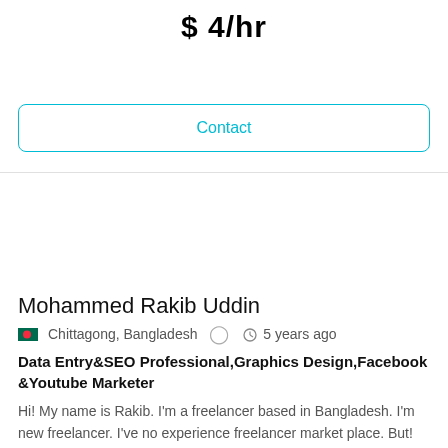$ 4/hr
Contact
Mohammed Rakib Uddin
Chittagong, Bangladesh  5 years ago
Data Entry&SEO Professional,Graphics Design,Facebook &Youtube Marketer
Hi! My name is Rakib. I'm a freelancer based in Bangladesh. I'm new freelancer. I've no experience freelancer market place. But! I've skilled about many Graphi...